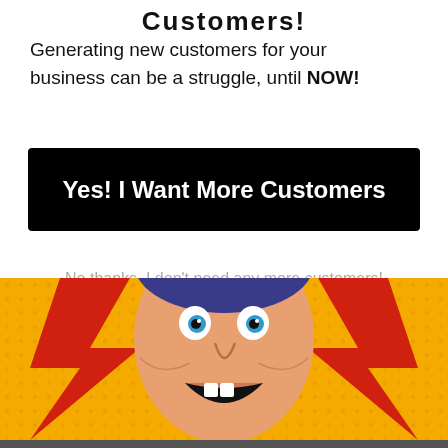Customers!
Generating new customers for your business can be a struggle, until NOW!
Yes! I Want More Customers
No thanks, I don't need any more customers!
[Figure (illustration): Pop-art style comic illustration of a screaming man with wide blue eyes and an open mouth, against a yellow halftone background with red lightning bolt shapes.]